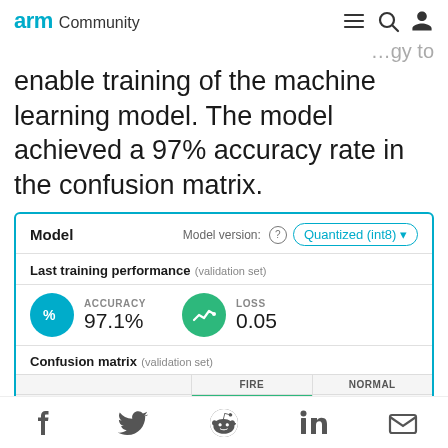arm Community
enable training of the machine learning model. The model achieved a 97% accuracy rate in the confusion matrix.
[Figure (screenshot): Edge Impulse model card showing Last training performance with ACCURACY 97.1% and LOSS 0.05, and Confusion matrix (validation set) with FIRE row showing 100% FIRE and 0% NORMAL, and NORMAL row showing 3.6% FIRE and 96.4% NORMAL. Model version selector shows Quantized (int8).]
Social share icons: Facebook, Twitter, Reddit, LinkedIn, Email